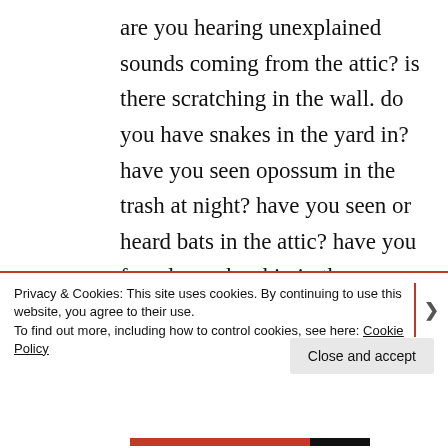are you hearing unexplained sounds coming from the attic? is there scratching in the wall. do you have snakes in the yard in? have you seen opossum in the trash at night? have you seen or heard bats in the attic? have you found a snake skin in the basement or attic space in? have you heard unexplained noises in
Privacy & Cookies: This site uses cookies. By continuing to use this website, you agree to their use.
To find out more, including how to control cookies, see here: Cookie Policy
Close and accept